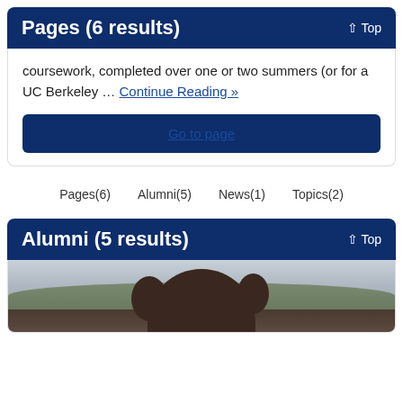Pages (6 results)
coursework, completed over one or two summers (or for a UC Berkeley … Continue Reading »
Go to page
Pages(6)
Alumni(5)
News(1)
Topics(2)
Alumni (5 results)
[Figure (photo): Photo of a person with brown hair against a hillside landscape background]